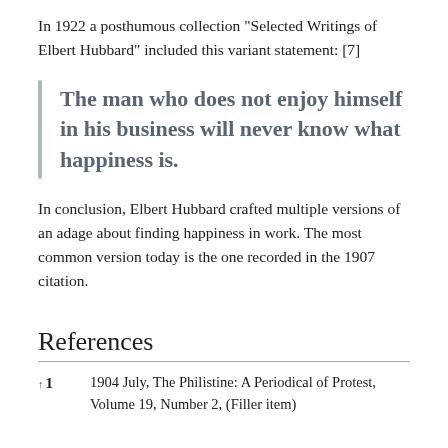In 1922 a posthumous collection “Selected Writings of Elbert Hubbard” included this variant statement: [7]
The man who does not enjoy himself in his business will never know what happiness is.
In conclusion, Elbert Hubbard crafted multiple versions of an adage about finding happiness in work. The most common version today is the one recorded in the 1907 citation.
References
↑1   1904 July, The Philistine: A Periodical of Protest, Volume 19, Number 2, (Filler item)